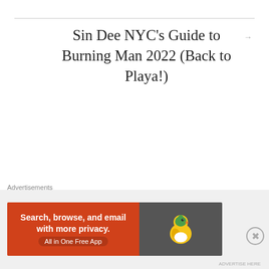Sin Dee NYC’s Guide to Burning Man 2022 (Back to Playa!)
Leave a Reply
Advertisements
[Figure (other): DuckDuckGo advertisement banner: orange section with text 'Search, browse, and email with more privacy. All in One Free App' and dark grey section with DuckDuckGo duck logo]